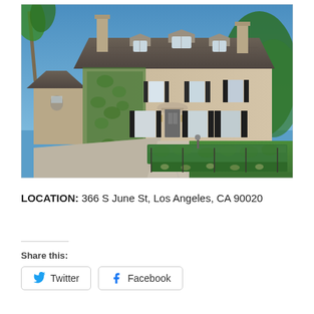[Figure (photo): Exterior photo of a large French-style manor house with ivy-covered facade, dark shutters, multiple chimneys, and manicured hedges along a driveway, blue sky background.]
LOCATION: 366 S June St, Los Angeles, CA 90020
Share this:
Twitter
Facebook